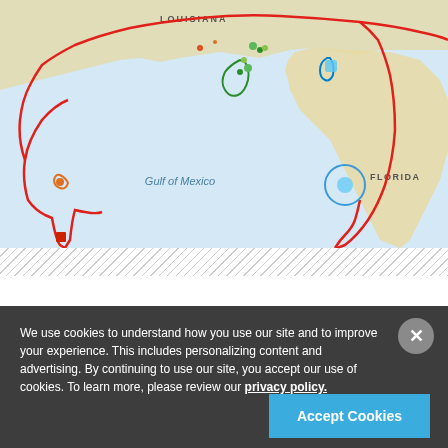[Figure (map): Web map screenshot showing Gulf Coast region including Louisiana, Florida, and Gulf of Mexico. A red outlined path/boundary traces the Gulf Coast. Various colored markers (green, blue, red, orange) appear along the coastline. Text labels include 'LOUISIANA', 'FLORIDA', 'Gulf of Mexico'.]
We use cookies to understand how you use our site and to improve your experience. This includes personalizing content and advertising. By continuing to use our site, you accept our use of cookies. To learn more, please review our privacy policy.
Accept Cookies